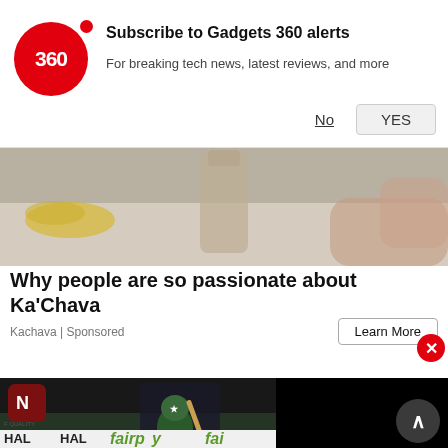[Figure (screenshot): Gadgets 360 notification banner with red circular logo showing '360', subscribe message, No and YES buttons]
Subscribe to Gadgets 360 alerts
For breaking tech news, latest reviews, and more
[Figure (photo): Ka'Chava advertisement image showing a person holding a glass bottle, with bananas visible in background kitchen]
Why people are so passionate about Ka'Chava
Kachava | Sponsored
[Figure (screenshot): Cricket match photo showing Pakistan player batting, with Newsnation logo overlay, fairpay advertisement banners at bottom, and black video overlay panel on right side]